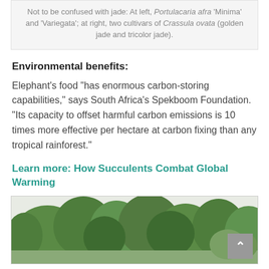Not to be confused with jade: At left, Portulacaria afra 'Minima' and 'Variegata'; at right, two cultivars of Crassula ovata (golden jade and tricolor jade).
Environmental benefits:
Elephant's food "has enormous carbon-storing capabilities," says South Africa's Spekboom Foundation. "Its capacity to offset harmful carbon emissions is 10 times more effective per hectare at carbon fixing than any tropical rainforest."
Learn more: How Succulents Combat Global Warming
[Figure (photo): Trees and shrubs with dense green foliage against a light sky, viewed from below. A back-to-top button is visible in the bottom right corner.]